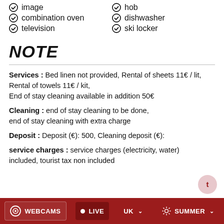✅ image   ✅ hob
✅ combination oven   ✅ dishwasher
✅ television   ✅ ski locker
NOTE
Services:  Bed linen not provided, Rental of sheets 11€ / lit, Rental of towels 11€ / kit, End of stay cleaning available in addition 50€
Cleaning:  end of stay cleaning to be done, end of stay cleaning with extra charge
Deposit:  Deposit (€): 500, Cleaning deposit (€):
service charges:  service charges (electricity, water) included, tourist tax non included
WEBCAMS | LIVE | UK | Summer